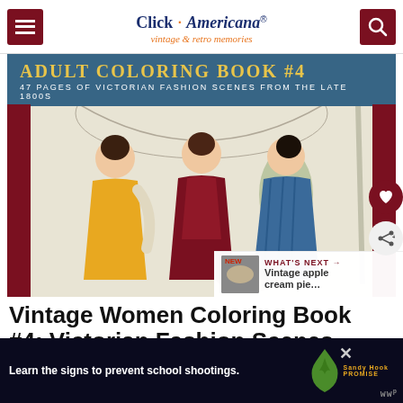Click Americana® vintage & retro memories
[Figure (illustration): Book cover image for Adult Coloring Book #4 featuring 47 pages of Victorian fashion scenes from the late 1800s, showing three Victorian women in period dresses.]
Vintage Women Coloring Book #4: Victorian Fashion Scenes